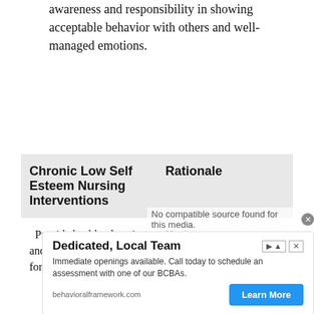awareness and responsibility in showing acceptable behavior with others and well-managed emotions.
| Chronic Low Self Esteem Nursing Interventions | Rationale |
| --- | --- |
| Provide health education and recreational activities for the patient and family. | Having a support system increases the patient’s chance of complying and participating in the treatment |